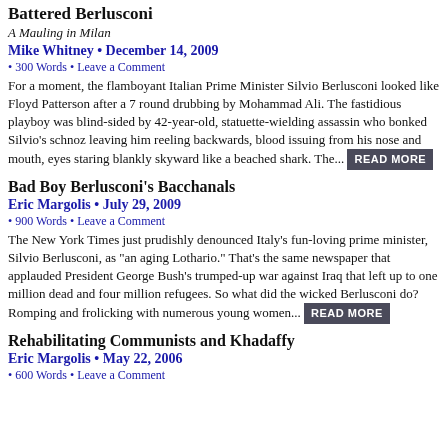Battered Berlusconi
A Mauling in Milan
Mike Whitney • December 14, 2009
• 300 Words • Leave a Comment
For a moment, the flamboyant Italian Prime Minister Silvio Berlusconi looked like Floyd Patterson after a 7 round drubbing by Mohammad Ali. The fastidious playboy was blind-sided by 42-year-old, statuette-wielding assassin who bonked Silvio's schnoz leaving him reeling backwards, blood issuing from his nose and mouth, eyes staring blankly skyward like a beached shark. The... READ MORE
Bad Boy Berlusconi's Bacchanals
Eric Margolis • July 29, 2009
• 900 Words • Leave a Comment
The New York Times just prudishly denounced Italy's fun-loving prime minister, Silvio Berlusconi, as "an aging Lothario." That's the same newspaper that applauded President George Bush's trumped-up war against Iraq that left up to one million dead and four million refugees. So what did the wicked Berlusconi do? Romping and frolicking with numerous young women... READ MORE
Rehabilitating Communists and Khadaffy
Eric Margolis • May 22, 2006
• 600 Words • Leave a Comment